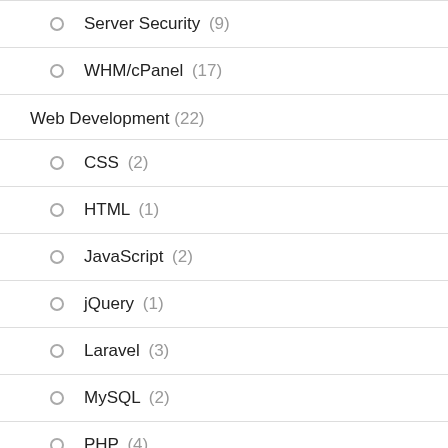Server Security (9)
WHM/cPanel (17)
Web Development (22)
CSS (2)
HTML (1)
JavaScript (2)
jQuery (1)
Laravel (3)
MySQL (2)
PHP (4)